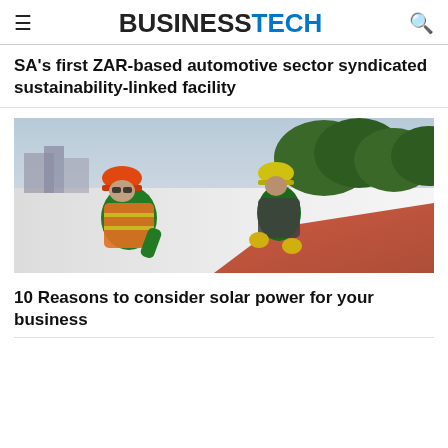BUSINESSTECH
SA's first ZAR-based automotive sector syndicated sustainability-linked facility
[Figure (photo): Two construction workers in hard hats and safety vests installing solar panels on a rooftop, with trees and city buildings in the background.]
10 Reasons to consider solar power for your business